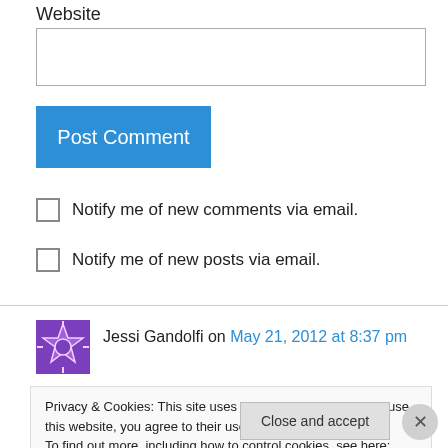Website
Post Comment
Notify me of new comments via email.
Notify me of new posts via email.
Jessi Gandolfi on May 21, 2012 at 8:37 pm
Privacy & Cookies: This site uses cookies. By continuing to use this website, you agree to their use. To find out more, including how to control cookies, see here: Cookie Policy
Close and accept